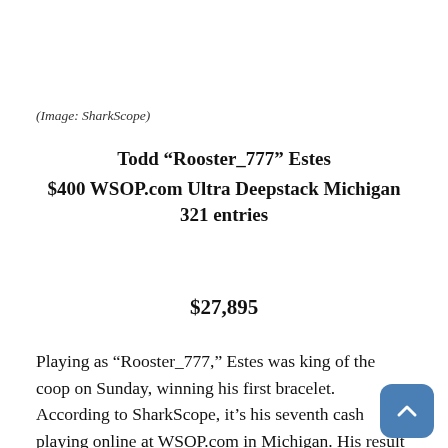(Image: SharkScope)
Todd “Rooster_777” Estes
$400 WSOP.com Ultra Deepstack Michigan 321 entries
$27,895
Playing as “Rooster_777,” Estes was king of the coop on Sunday, winning his first bracelet. According to SharkScope, it’s his seventh cash playing online at WSOP.com in Michigan. His result chart looks like a rocket blasting off. Got room for a passenger, Rooster?